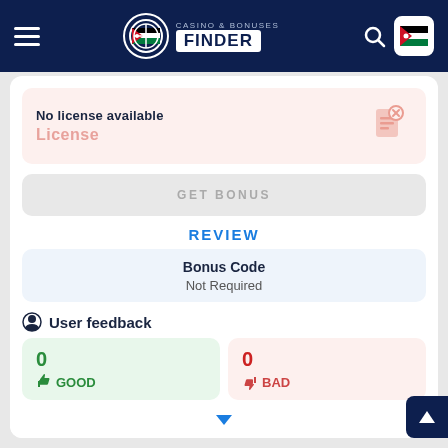Casino & Bonuses Finder
No license available
License
GET BONUS
REVIEW
Bonus Code
Not Required
User feedback
0 GOOD
0 BAD
18+, new players only